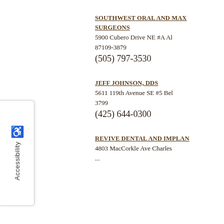[Figure (other): Accessibility tab/button on left side of page with wheelchair icon and vertical 'Accessibility' text]
SOUTHWEST ORAL AND MAX SURGEONS
5900 Cubero Drive NE #A Al 87109-3879
(505) 797-3530
JEFF JOHNSON, DDS
5611 119th Avenue SE #5 Bel 3799
(425) 644-0300
REVIVE DENTAL AND IMPLAN
4803 MacCorkle Ave Charles...